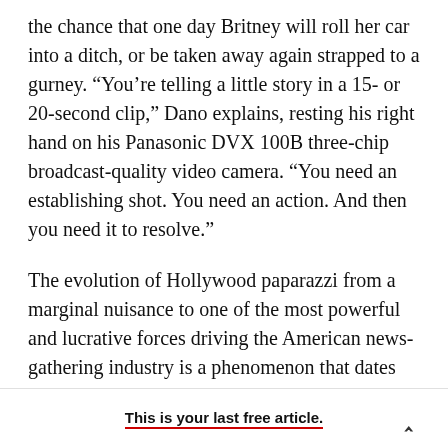the chance that one day Britney will roll her car into a ditch, or be taken away again strapped to a gurney. “You’re telling a little story in a 15- or 20-second clip,” Dano explains, resting his right hand on his Panasonic DVX 100B three-chip broadcast-quality video camera. “You need an establishing shot. You need an action. And then you need it to resolve.”
The evolution of Hollywood paparazzi from a marginal nuisance to one of the most powerful and lucrative forces driving the American news-gathering industry is a phenomenon that dates back
This is your last free article.